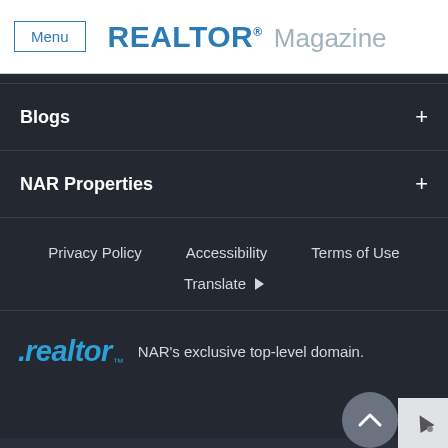Menu | REALTOR® Magazine
Blogs +
NAR Properties +
Privacy Policy
Accessibility
Terms of Use
Translate ▶
[Figure (logo): .realtor™ logo with text NAR's exclusive top-level domain.]
© 2022 National Association of REALTORS®. All Rights Reserved.